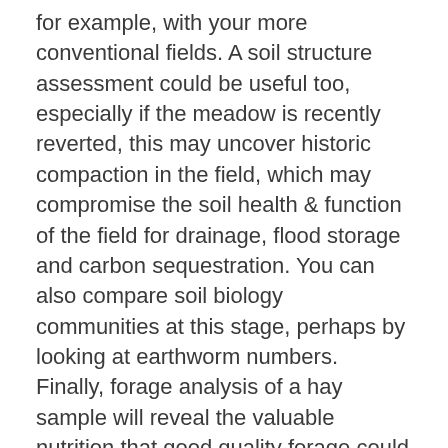for example, with your more conventional fields. A soil structure assessment could be useful too, especially if the meadow is recently reverted, this may uncover historic compaction in the field, which may compromise the soil health & function of the field for drainage, flood storage and carbon sequestration. You can also compare soil biology communities at this stage, perhaps by looking at earthworm numbers. Finally, forage analysis of a hay sample will reveal the valuable nutrition that good quality forage could provide; top quality hay has an energy value comparable to good silage, but provides extra micro-nutrients and fibre that can be very valuable for livestock health.
All things considered, having traditionally